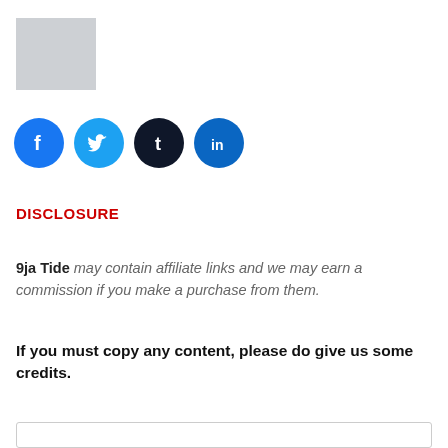[Figure (illustration): Gray placeholder image rectangle in the top-left corner]
[Figure (illustration): Row of four social media icon circles: Facebook (blue), Twitter (light blue), Tumblr (dark navy), LinkedIn (medium blue)]
DISCLOSURE
9ja Tide may contain affiliate links and we may earn a commission if you make a purchase from them.
If you must copy any content, please do give us some credits.